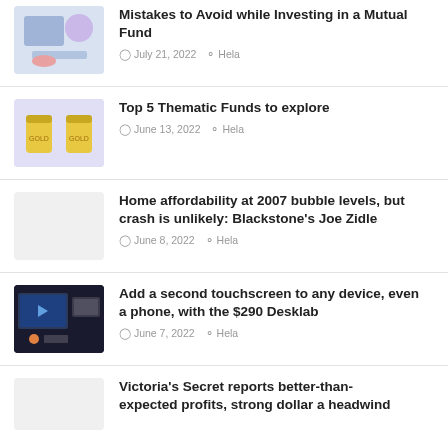[Figure (illustration): Illustration of person sitting and working on laptop with finance graphics]
Mistakes to Avoid while Investing in a Mutual Fund
July 21, 2022  Hela
[Figure (illustration): Illustration of two yellow bags/barrels on light purple background]
Top 5 Thematic Funds to explore
June 13, 2022  Hela
[Figure (illustration): Light gray placeholder image]
Home affordability at 2007 bubble levels, but crash is unlikely: Blackstone's Joe Zidle
June 8, 2022  Hela
[Figure (photo): Photo of a touchscreen device/monitor setup]
Add a second touchscreen to any device, even a phone, with the $290 Desklab
June 7, 2022  Hela
[Figure (illustration): Light gray placeholder image]
Victoria's Secret reports better-than-expected profits, strong dollar a headwind